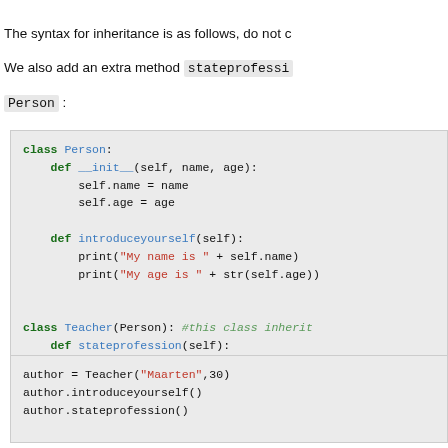The syntax for inheritance is as follows, do not c We also add an extra method stateprofessi Person :
[Figure (screenshot): Python code block showing class Person with __init__ and introduceyourself methods, and class Teacher inheriting from Person with stateprofession method]
[Figure (screenshot): Python code block showing author = Teacher("Maarten",30), author.introduceyourself(), author.stateprofession()]